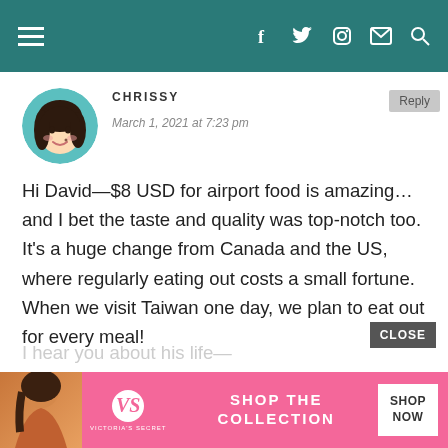Navigation bar with hamburger menu and social icons (Facebook, Twitter, Instagram, Mail, Search)
CHRISSY
March 1, 2021 at 7:23 pm
Hi David—$8 USD for airport food is amazing... and I bet the taste and quality was top-notch too. It's a huge change from Canada and the US, where regularly eating out costs a small fortune. When we visit Taiwan one day, we plan to eat out for every meal!
[Figure (illustration): Circular avatar of animated/cartoon young woman with dark hair]
I hear you about his life...    ung.
[Figure (screenshot): Victoria's Secret advertisement banner: SHOP THE COLLECTION / SHOP NOW]